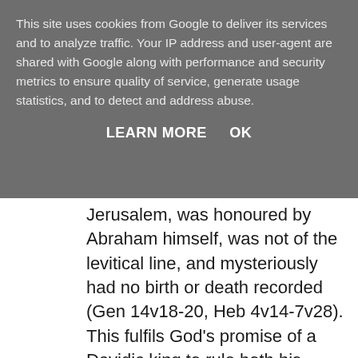This site uses cookies from Google to deliver its services and to analyze traffic. Your IP address and user-agent are shared with Google along with performance and security metrics to ensure quality of service, generate usage statistics, and to detect and address abuse.
LEARN MORE    OK
Jerusalem, was honoured by Abraham himself, was not of the levitical line, and mysteriously had no birth or death recorded (Gen 14v18-20, Heb 4v14-7v28). This fulfils God’s promise of a Davidic king to rule both his temple and